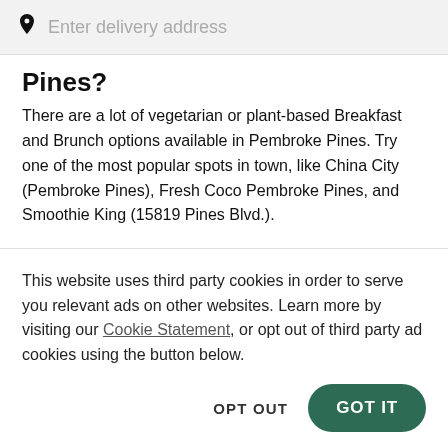Enter delivery address
Pines?
There are a lot of vegetarian or plant-based Breakfast and Brunch options available in Pembroke Pines. Try one of the most popular spots in town, like China City (Pembroke Pines), Fresh Coco Pembroke Pines, and Smoothie King (15819 Pines Blvd.).
What places can I pick up Breakfast and
This website uses third party cookies in order to serve you relevant ads on other websites. Learn more by visiting our Cookie Statement, or opt out of third party ad cookies using the button below.